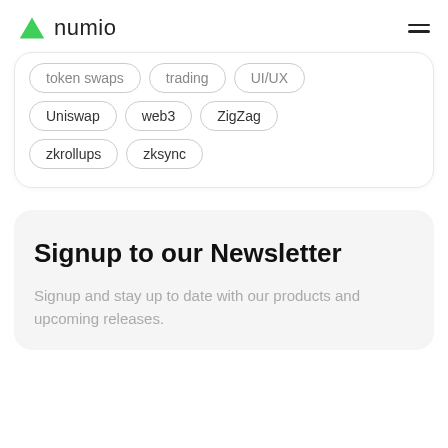numio
token swaps   trading   UI/UX
Uniswap   web3   ZigZag
zkrollups   zksync
Signup to our Newsletter
Signup and stay up to date with our products and upcoming releases.